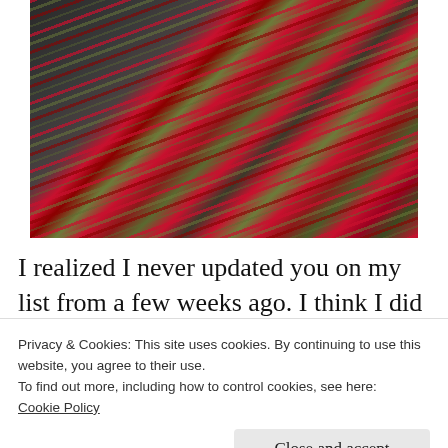[Figure (photo): Close-up photograph of a knitted textile with red, green, and dark multicolored striped yarn pattern, displayed on a grey surface.]
I realized I never updated you on my list from a few weeks ago. I think I did everything I wanted
Privacy & Cookies: This site uses cookies. By continuing to use this website, you agree to their use.
To find out more, including how to control cookies, see here:
Cookie Policy
Close and accept
I will try to keep it under control today. A will